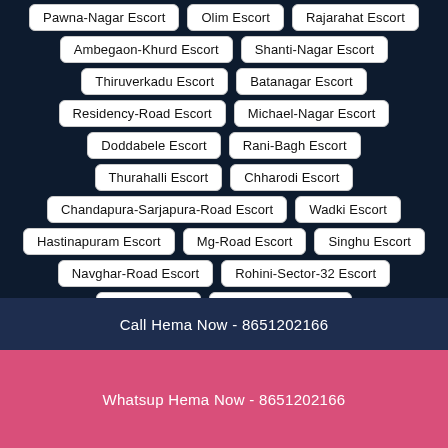Pawna-Nagar Escort
Olim Escort
Rajarahat Escort
Ambegaon-Khurd Escort
Shanti-Nagar Escort
Thiruverkadu Escort
Batanagar Escort
Residency-Road Escort
Michael-Nagar Escort
Doddabele Escort
Rani-Bagh Escort
Thurahalli Escort
Chharodi Escort
Chandapura-Sarjapura-Road Escort
Wadki Escort
Hastinapuram Escort
Mg-Road Escort
Singhu Escort
Navghar-Road Escort
Rohini-Sector-32 Escort
Hazra Escort
Byculla-East Escort
Off-Hennur-Road Escort
Lingampally Escort
Sithalapakkam Escort
Gole-Market Escort
Call Hema Now - 8651202166
Whatsup Hema Now - 8651202166